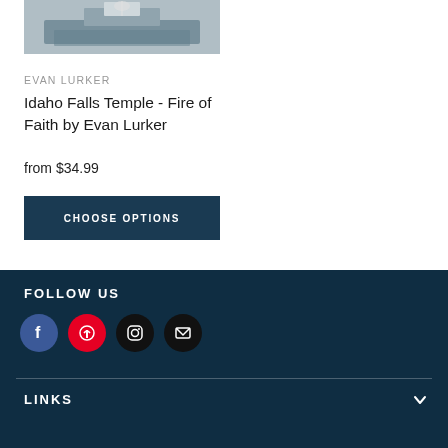[Figure (photo): Product photo of Idaho Falls Temple artwork by Evan Lurker]
EVAN LURKER
Idaho Falls Temple - Fire of Faith by Evan Lurker
from $34.99
CHOOSE OPTIONS
FOLLOW US
[Figure (other): Social media icons: Facebook, Pinterest, Instagram, Email]
LINKS